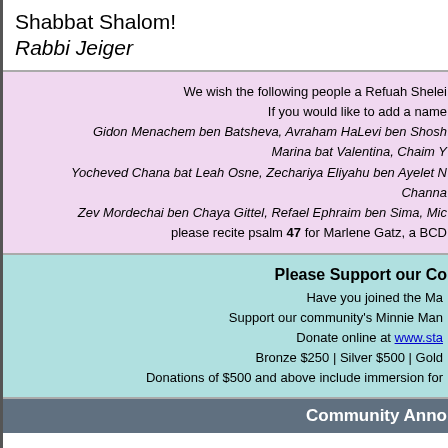Shabbat Shalom!
Rabbi Jeiger
We wish the following people a Refuah Shelei
If you would like to add a name
Gidon Menachem ben Batsheva, Avraham HaLevi ben Shosh
Marina bat Valentina, Chaim Y
Yocheved Chana bat Leah Osne, Zechariah Eliyahu ben Ayelet N
Channa
Zev Mordechai ben Chaya Gittel, Refael Ephraim ben Sima, Mic
please recite psalm 47 for Marlene Gatz, a BCD
Please Support our Co
Have you joined the Ma
Support our community's Minnie Man
Donate online at www.sta
Bronze $250 | Silver $500 | Gold
Donations of $500 and above include immersion for
Community Anno
"JEWS AND BASEBALL": speaker Peter Ephross, Edito
-Sunday, April 28th, Temple Beth El, Roxbury Road, Sta
Mets tickets with parking will be offered as a door prize.
Marcie Schoenfield at (203) 359-9148. Sponsored by